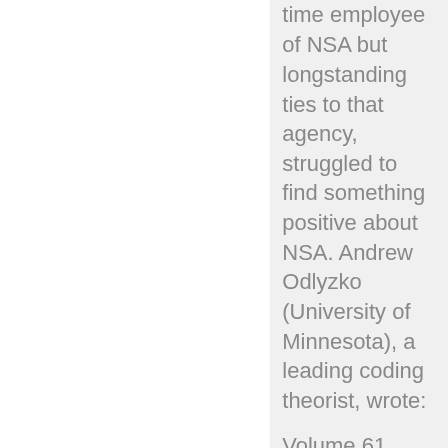time employee of NSA but longstanding ties to that agency, struggled to find something positive about NSA. Andrew Odlyzko (University of Minnesota), a leading coding theorist, wrote:
Volume 61,